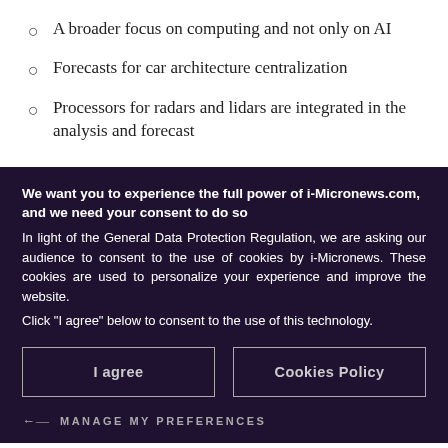A broader focus on computing and not only on AI
Forecasts for car architecture centralization
Processors for radars and lidars are integrated in the analysis and forecast
We want you to experience the full power of i-Micronews.com, and we need your consent to do so
In light of the General Data Protection Regulation, we are asking our audience to consent to the use of cookies by i-Micronews. These cookies are used to personalize your experience and improve the website.
Click “I agree” below to consent to the use of this technology.
I agree
Cookies Policy
← MANAGE MY PREFERENCES